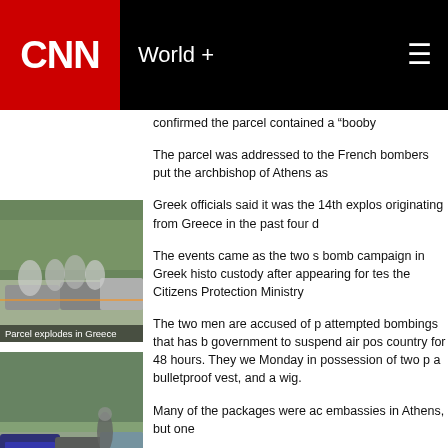CNN   World +
confirmed the parcel contained a "booby
The parcel was addressed to the French bombers put the archbishop of Athens as
Greek officials said it was the 14th explos originating from Greece in the past four d
[Figure (photo): Police/security personnel at a scene, parcel bomb incident in Greece]
Parcel explodes in Greece
[Figure (photo): Street scene with cars and people, mail bomb in Berlin]
Mail bomb in Berlin
The events came as the two s bomb campaign in Greek histo custody after appearing for tes the Citizens Protection Ministry
The two men are accused of p attempted bombings that has b government to suspend air pos country for 48 hours. They we Monday in possession of two p a bulletproof vest, and a wig.
Many of the packages were ac embassies in Athens, but one